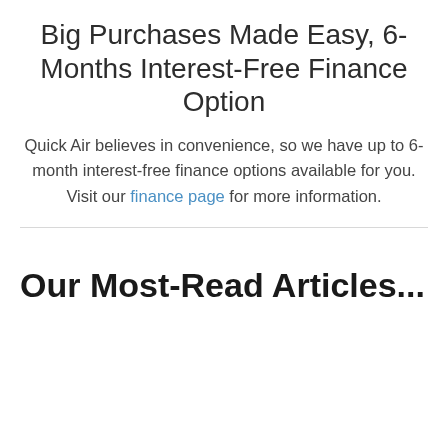Big Purchases Made Easy, 6-Months Interest-Free Finance Option
Quick Air believes in convenience, so we have up to 6-month interest-free finance options available for you. Visit our finance page for more information.
Our Most-Read Articles...